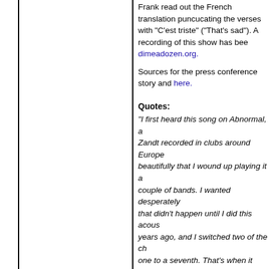Frank read out the French translation puncucating the verses with "C'est triste" ("That's sad"). A recording of this show has been at dimeadozen.org.
Sources for the press conference story and here.
Quotes:
"I first heard this song on Abnormal, a Zandt recorded in clubs around Europe beautifully that I wound up playing it a couple of bands. I wanted desperately that didn't happen until I did this acous years ago, and I switched two of the ch one to a seventh. That's when it becan - Frank on recording Honeycomb - Nig
Well, I still haven't heard the Elvis vers a Townes Van Zandt recording. It's jus with all these pregnant pauses and stu It's very funny. Any time I did a radio sp be in Switzerland talking to some DJ a "So Frank, tell us about the Pixies" or s [party guy voice] "Hey man, whoooo!" make noise. They don't care what you guitar with me, and I would always som song. I used to even have them transla native language. I would play a line an